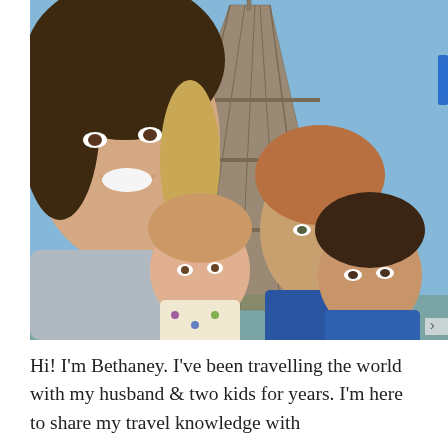[Figure (photo): A family selfie in front of the Eiffel Tower in Paris. A woman with blonde-streaked brown hair smiles on the left, a man with reddish-blond hair stands behind in a blue jacket, and two young children are in the foreground. The Eiffel Tower's iron lattice structure fills the background against a blue sky.]
Hi! I'm Bethaney. I've been travelling the world with my husband & two kids for years. I'm here to share my travel knowledge with